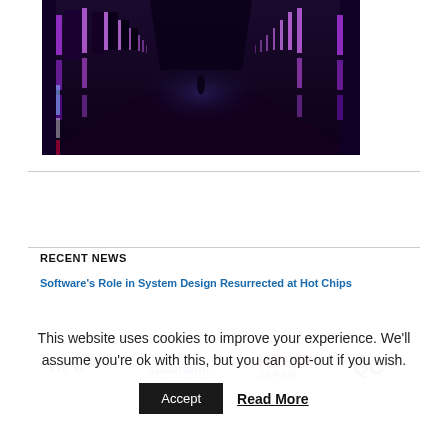[Figure (photo): Dark corridor with purple/violet neon lighting on both sides creating a vanishing point perspective]
[Figure (logo): Tabor Network logos: HPCwire, datanami, HPC Japan wire, QCwire]
RECENT NEWS
Software's Role in System Design Resurrected at Hot Chips
This website uses cookies to improve your experience. We'll assume you're ok with this, but you can opt-out if you wish.
Accept
Read More